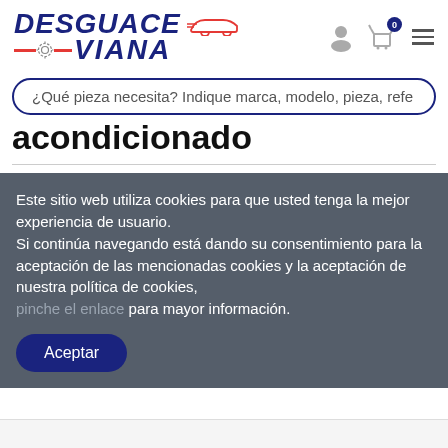[Figure (logo): Desguace Viana logo with car silhouette and gear icon]
¿Qué pieza necesita? Indique marca, modelo, pieza, refe
acondicionado
Este sitio web utiliza cookies para que usted tenga la mejor experiencia de usuario.
Si continúa navegando está dando su consentimiento para la aceptación de las mencionadas cookies y la aceptación de nuestra política de cookies,
pinche el enlace para mayor información.
Aceptar